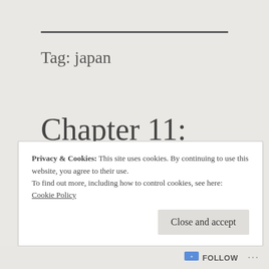Tag: japan
Chapter 11: Missed Moments...
Privacy & Cookies: This site uses cookies. By continuing to use this website, you agree to their use.
To find out more, including how to control cookies, see here:
Cookie Policy
Close and accept
Follow ...